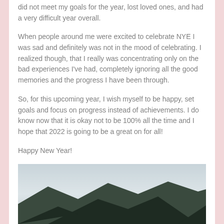did not meet my goals for the year, lost loved ones, and had a very difficult year overall.
When people around me were excited to celebrate NYE I was sad and definitely was not in the mood of celebrating. I realized though, that I really was concentrating only on the bad experiences I've had, completely ignoring all the good memories and the progress I have been through.
So, for this upcoming year, I wish myself to be happy, set goals and focus on progress instead of achievements. I do know now that it is okay not to be 100% all the time and I hope that 2022 is going to be a great on for all!
Happy New Year!
[Figure (photo): A mountain landscape photo with misty sky and dark mountain silhouette at the bottom]